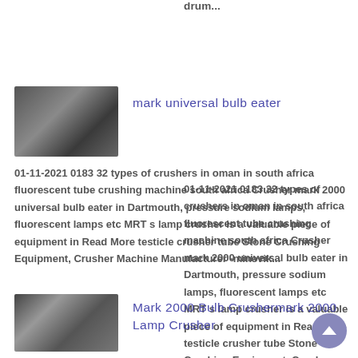drum...
[Figure (photo): Industrial machinery component, dark metal cylindrical parts]
mark universal bulb eater
01-11-2021 0183 32 types of crushers in oman in south africa fluorescent tube crushing machine south africa Crusher mark 2000 universal bulb eater in Dartmouth, pressure sodium lamps, fluorescent lamps etc MRT s lamp crusher is a valuable piece of equipment in Read More testicle crusher tube Stone Crushing Equipment, Crusher Machine Manufacturer -minevik...
[Figure (photo): Industrial roller or drum machinery, metallic cylindrical equipment]
Mark 2000 Bulb Crushermark 2000 Lamp Crusher